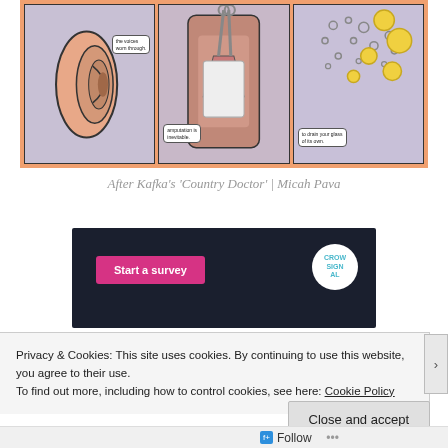[Figure (illustration): Three-panel comic strip illustration on an orange background. Panel 1 shows a large ear with a speech bubble reading 'the voices worn through.' Panel 2 shows a surgical/amputation scene with scissors and a speech bubble reading 'amputation is inevitable.' Panel 3 shows scattered yellow and grey bubbles/dots with a speech bubble reading 'to drain your glass of its own.']
After Kafka's 'Country Doctor' | Micah Pava
[Figure (screenshot): Dark navy banner showing a 'Start a survey' pink button on the left and a circular Crowdsignal logo on the right.]
Privacy & Cookies: This site uses cookies. By continuing to use this website, you agree to their use.
To find out more, including how to control cookies, see here: Cookie Policy